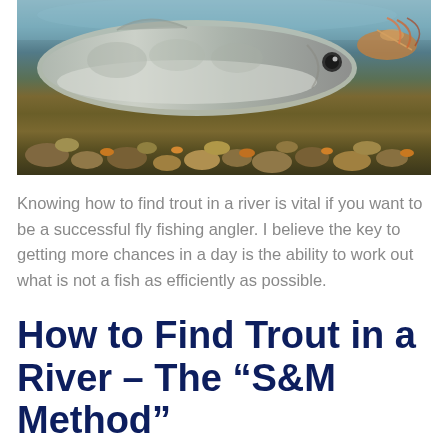[Figure (photo): Underwater photograph of a trout fish close-up with rocky riverbed background, showing fish scales and a fishing fly lure]
Knowing how to find trout in a river is vital if you want to be a successful fly fishing angler. I believe the key to getting more chances in a day is the ability to work out what is not a fish as efficiently as possible.
How to Find Trout in a River - The “S&M Method”